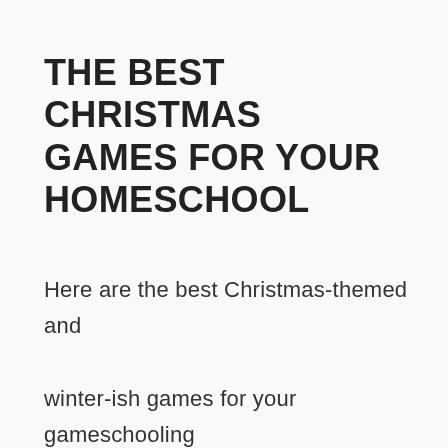THE BEST CHRISTMAS GAMES FOR YOUR HOMESCHOOL
Here are the best Christmas-themed and winter-ish games for your gameschooling enjoyment!